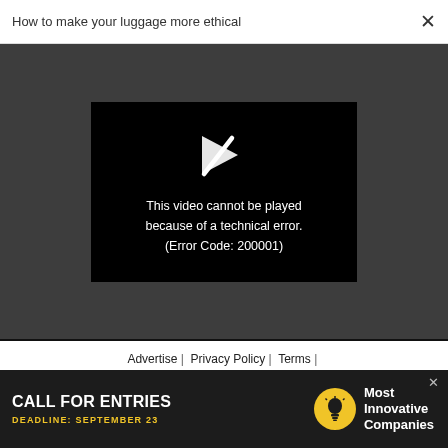How to make your luggage more ethical
[Figure (screenshot): Video player showing error message on dark grey background. Black error box contains a broken play button icon and text: 'This video cannot be played because of a technical error. (Error Code: 200001)']
Advertise | Privacy Policy | Terms | Notice of Collection | Do Not Sell My Data | Permissions | Help Center | About Us | Site Map |
[Figure (infographic): Advertisement banner: CALL FOR ENTRIES DEADLINE: SEPTEMBER 23 with lightbulb icon and text 'Most Innovative Companies']